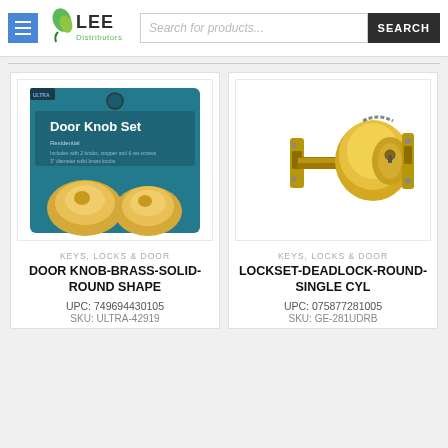Lee Distributors - Header with logo, menu button, and search bar
[Figure (photo): Door Knob Set product in teal packaging showing two brass round door knobs]
KEYS, LOCKS & DOOR
DOOR KNOB-BRASS-SOLID-ROUND SHAPE
UPC: 749694430105
SKU: ULTRA-42919
[Figure (photo): Brass deadlock single cylinder lockset showing round cylinder body with bolt mechanism]
KEYS, LOCKS & DOOR
LOCKSET-DEADLOCK-ROUND-SINGLE CYL
UPC: 075877281005
SKU: GE-281UDRB